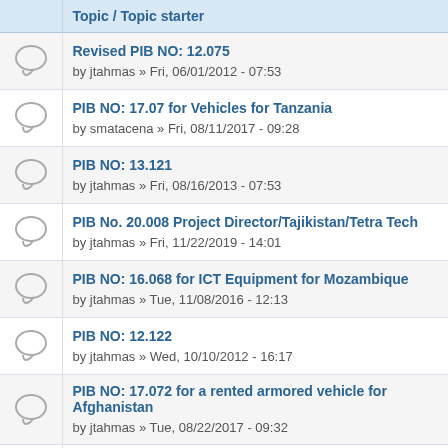|  | Topic / Topic starter |
| --- | --- |
|  | Revised PIB NO: 12.075
by jtahmas » Fri, 06/01/2012 - 07:53 |
|  | PIB NO: 17.07 for Vehicles for Tanzania
by smatacena » Fri, 08/11/2017 - 09:28 |
|  | PIB NO: 13.121
by jtahmas » Fri, 08/16/2013 - 07:53 |
|  | PIB No. 20.008 Project Director/Tajikistan/Tetra Tech
by jtahmas » Fri, 11/22/2019 - 14:01 |
|  | PIB NO: 16.068 for ICT Equipment for Mozambique
by jtahmas » Tue, 11/08/2016 - 12:13 |
|  | PIB NO: 12.122
by jtahmas » Wed, 10/10/2012 - 16:17 |
|  | PIB NO: 17.072 for a rented armored vehicle for Afghanistan
by jtahmas » Tue, 08/22/2017 - 09:32 |
|  | PIB NO: 13.123 |